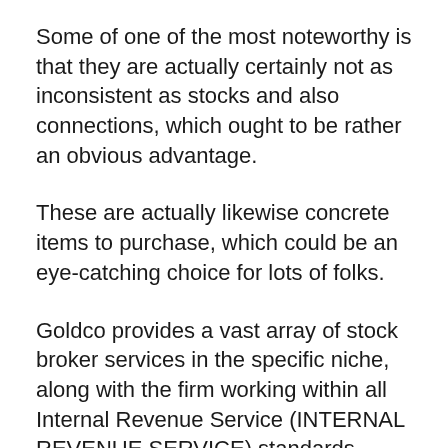Some of one of the most noteworthy is that they are actually certainly not as inconsistent as stocks and also connections, which ought to be rather an obvious advantage.
These are actually likewise concrete items to purchase, which could be an eye-catching choice for lots of folks.
Goldco provides a vast array of stock broker services in the specific niche, along with the firm working within all Internal Revenue Service (INTERNAL REVENUE SERVICE) standards. Together with this, the company buys back the gold and silvers or makes it possible for customers to market all of them on the market to some on the extent...